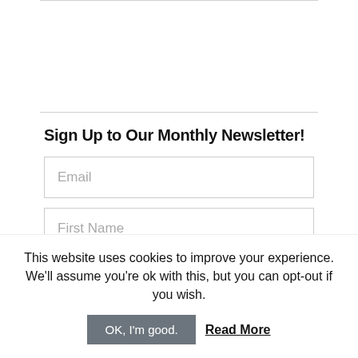Sign Up to Our Monthly Newsletter!
Email
First Name
Sign up
This website uses cookies to improve your experience. We'll assume you're ok with this, but you can opt-out if you wish.
OK, I'm good.
Read More